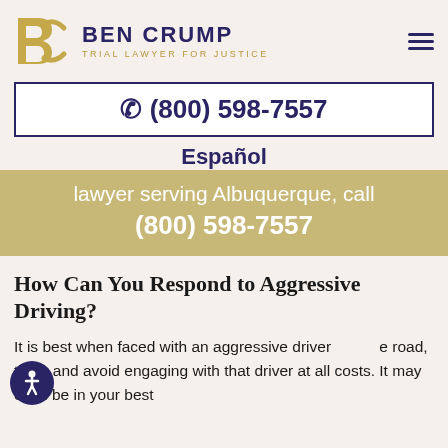BEN CRUMP TRIAL LAWYER FOR JUSTICE
☎ (800) 598-7557
Español
lawyer serving Albuquerque, call (800) 598-7557
How Can You Respond to Aggressive Driving?
It is best when faced with an aggressive driver on the road, to try and avoid engaging with that driver at all costs. It may even be in your best